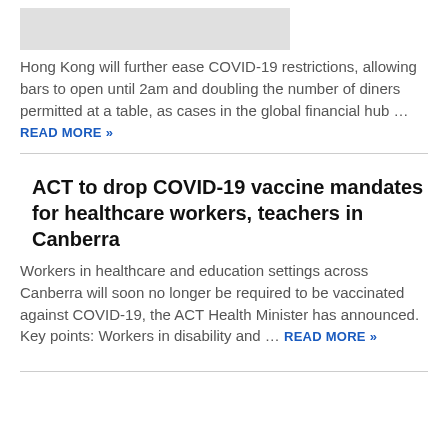[Figure (photo): Placeholder image (light gray rectangle) for Hong Kong article]
Hong Kong will further ease COVID-19 restrictions, allowing bars to open until 2am and doubling the number of diners permitted at a table, as cases in the global financial hub … READ MORE »
[Figure (photo): Placeholder image (light gray rectangle) for ACT COVID-19 vaccine mandates article]
ACT to drop COVID-19 vaccine mandates for healthcare workers, teachers in Canberra
Workers in healthcare and education settings across Canberra will soon no longer be required to be vaccinated against COVID-19, the ACT Health Minister has announced. Key points: Workers in disability and … READ MORE »